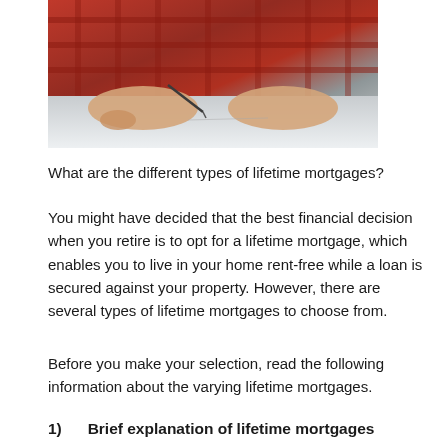[Figure (photo): A person wearing a red checkered shirt signing or writing on a document, viewed from above, with hands visible on a white surface.]
What are the different types of lifetime mortgages?
You might have decided that the best financial decision when you retire is to opt for a lifetime mortgage, which enables you to live in your home rent-free while a loan is secured against your property. However, there are several types of lifetime mortgages to choose from.
Before you make your selection, read the following information about the varying lifetime mortgages.
1)      Brief explanation of lifetime mortgages